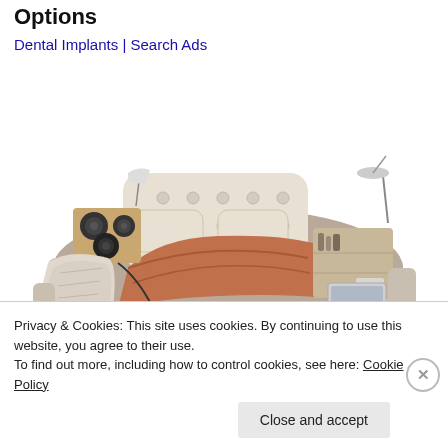Options
Dental Implants | Search Ads
[Figure (photo): A large luxury smart bed with built-in speakers, massage chair, storage drawers, reading lamps, tablet/laptop area, and shelving. The bed is cream/beige leather with brown bedding and wood accents.]
Privacy & Cookies: This site uses cookies. By continuing to use this website, you agree to their use.
To find out more, including how to control cookies, see here: Cookie Policy
Close and accept